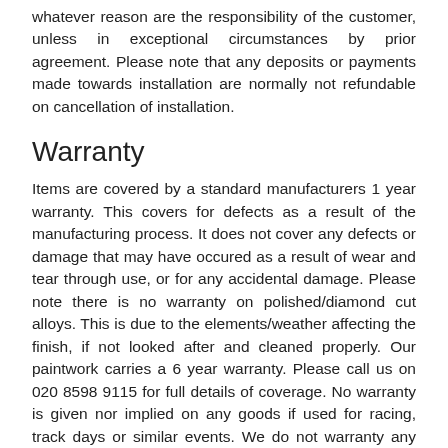whatever reason are the responsibility of the customer, unless in exceptional circumstances by prior agreement. Please note that any deposits or payments made towards installation are normally not refundable on cancellation of installation.
Warranty
Items are covered by a standard manufacturers 1 year warranty. This covers for defects as a result of the manufacturing process. It does not cover any defects or damage that may have occured as a result of wear and tear through use, or for any accidental damage. Please note there is no warranty on polished/diamond cut alloys. This is due to the elements/weather affecting the finish, if not looked after and cleaned properly. Our paintwork carries a 6 year warranty. Please call us on 020 8598 9115 for full details of coverage. No warranty is given nor implied on any goods if used for racing, track days or similar events. We do not warranty any labour costs for installation of parts after being sold and getting fitted independently. Carriage costs for the return to Carlsson UK or its agents of any goods for credit,